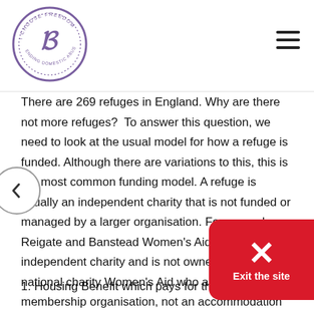I Choose Freedom — logo and navigation
There are 269 refuges in England. Why are there not more refuges? To answer this question, we need to look at the usual model for how a refuge is funded. Although there are variations to this, this is the most common funding model. A refuge is usually an independent charity that is not funded or managed by a larger organisation. For example: Reigate and Banstead Women's Aid is an independent charity and is not owned or run by the national charity Women's Aid who are a membership organisation, not an accommodation service. So, with this in mind, a small independent charity like Reigate and Banstead Women's Aid is funded by:
1. Housing Benefit which pays for the property